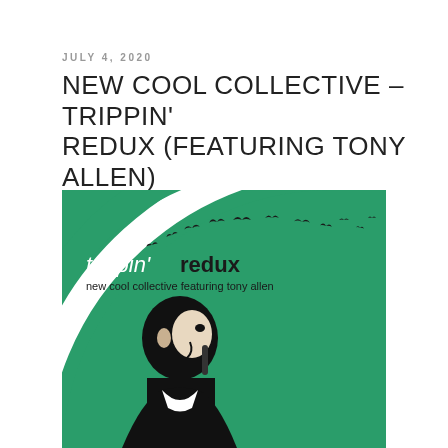JULY 4, 2020
NEW COOL COLLECTIVE – TRIPPIN' REDUX (FEATURING TONY ALLEN)
[Figure (illustration): Album cover for 'trippin' redux' by new cool collective featuring tony allen. Green background with concentric white spiral/arc shapes. Black and white high-contrast image of a man (Tony Allen) looking upward. White text reads 'trippin' redux' in italic/bold. Black text reads 'new cool collective featuring tony allen'. Flying birds silhouettes scattered across the upper portion of the cover.]